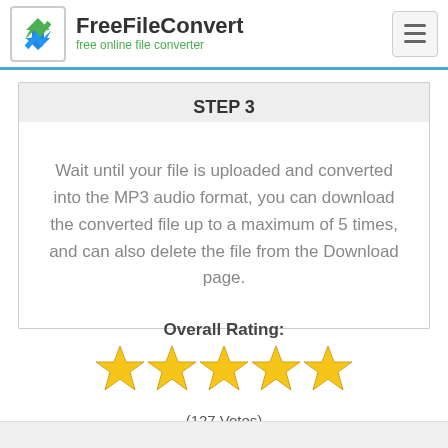FreeFileConvert — free online file converter
STEP 3
Wait until your file is uploaded and converted into the MP3 audio format, you can download the converted file up to a maximum of 5 times, and can also delete the file from the Download page.
Overall Rating:
[Figure (other): Five gold stars rating display]
(127 Votes)